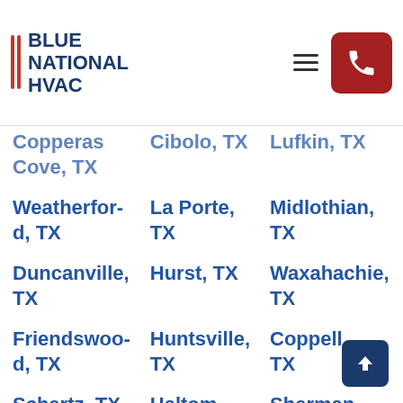Blue National HVAC
Copperas Cove, TX
Cibolo, TX
Lufkin, TX
Weatherford, TX
La Porte, TX
Midlothian, TX
Duncanville, TX
Hurst, TX
Waxahachie, TX
Friendswood, TX
Huntsville, TX
Coppell, TX
Schertz, TX
Haltom
Sherman,